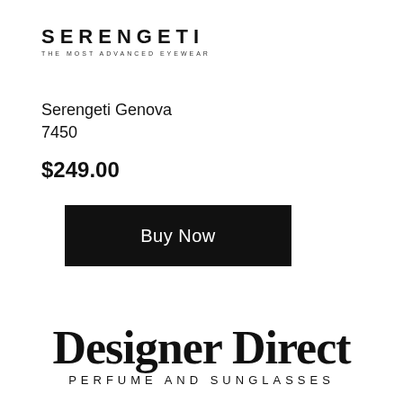SERENGETI
THE MOST ADVANCED EYEWEAR
Serengeti Genova 7450
$249.00
Buy Now
Designer Direct
PERFUME AND SUNGLASSES